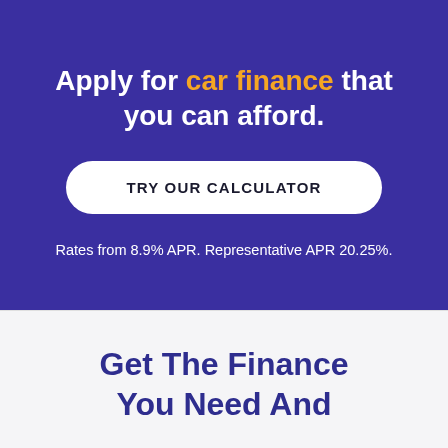Apply for car finance that you can afford.
TRY OUR CALCULATOR
Rates from 8.9% APR. Representative APR 20.25%.
Get The Finance You Need And